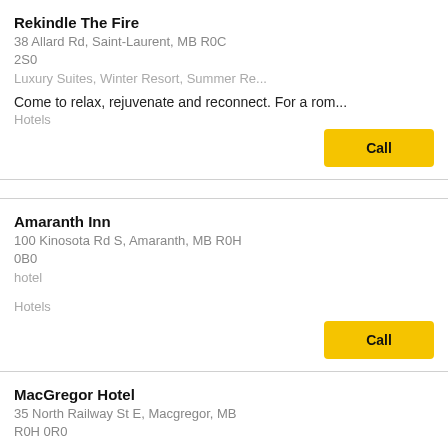Rekindle The Fire
38 Allard Rd, Saint-Laurent, MB R0C 2S0
Luxury Suites, Winter Resort, Summer Re...
Come to relax, rejuvenate and reconnect. For a rom...
Hotels
Amaranth Inn
100 Kinosota Rd S, Amaranth, MB R0H 0B0
hotel
Hotels
MacGregor Hotel
35 North Railway St E, Macgregor, MB R0H 0R0